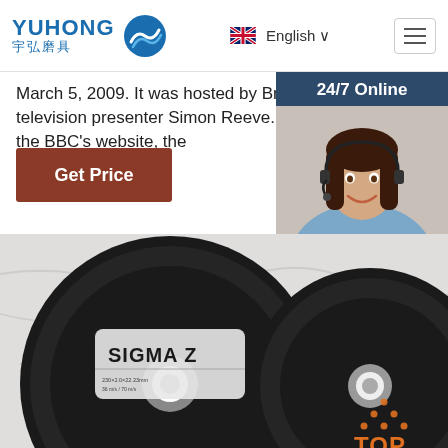YUHONG 宇弘磨具 | English | Navigation
March 5, 2009. It was hosted by British television presenter Simon Reeve. On the BBC's website, the
Get Price
[Figure (photo): 24/7 Online customer service agent — woman with headset smiling, with 'Click here for free chat!' and QUOTATION button below]
[Figure (photo): Two black abrasive cutting/grinding discs labeled SIGMA Z on white marble surface, with TOP badge overlay in bottom right]